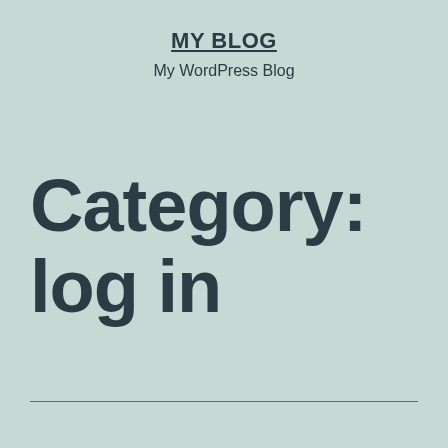MY BLOG
My WordPress Blog
Category: log in